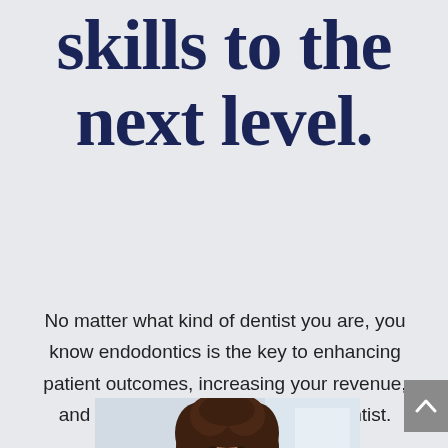skills to the next level.
No matter what kind of dentist you are, you know endodontics is the key to enhancing patient outcomes, increasing your revenue, and becoming a more confident dentist.
[Figure (photo): Photo of a smiling woman with curly brown hair, presumably a dentist or dental professional, shown from the shoulders up against a light blurred background.]